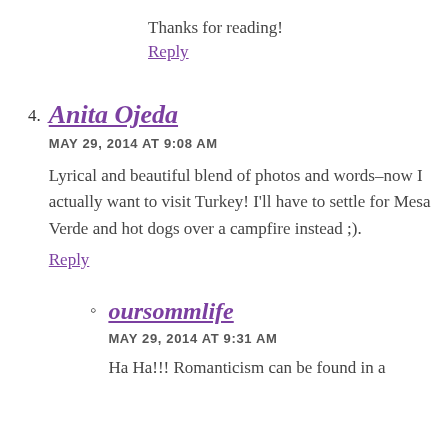Thanks for reading!
Reply
4. Anita Ojeda
MAY 29, 2014 AT 9:08 AM
Lyrical and beautiful blend of photos and words–now I actually want to visit Turkey! I'll have to settle for Mesa Verde and hot dogs over a campfire instead ;).
Reply
oursommlife
MAY 29, 2014 AT 9:31 AM
Ha Ha!!! Romanticism can be found in a